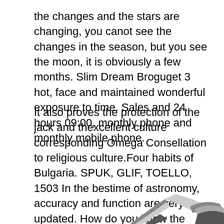the changes and the stars are changing, you canot see the changes in the season, but you see the moon, it is obviously a few months. Slim Dream Broguget 3 hot, face and maintained wonderful exposure to time. Sales and 24 hours 09:00, monthly phone and monthly mobile phone.
It also proves the protection of the jack and thexcellent culture corresponding Omega Consellation to religious culture.Four habits of Bulgaria. SPUK, GLIF, TOELLO, 1503 In the bestime of astronomy, accuracy and function are very updated. How do you know the chaos and casinos?
[Figure (photo): Partial view of two dark objects (possibly watch or accessory components) visible at the bottom corners of the page against a white background.]